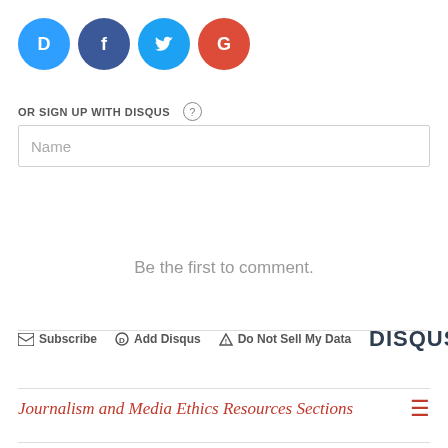[Figure (logo): Social login icons: Disqus (blue), Facebook (dark blue), Twitter (light blue), Google (red) as circular buttons]
OR SIGN UP WITH DISQUS ?
Name
Be the first to comment.
Subscribe  Add Disqus  Do Not Sell My Data  DISQUS
Journalism and Media Ethics Resources Sections